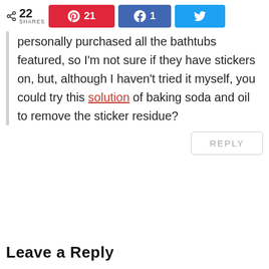22 SHARES  21  1
personally purchased all the bathtubs featured, so I'm not sure if they have stickers on, but, although I haven't tried it myself, you could try this solution of baking soda and oil to remove the sticker residue?
REPLY
Leave a Reply